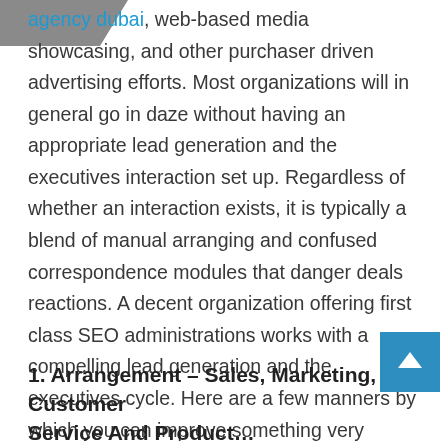[Figure (logo): Partial logo / brand graphic in dark grey on top left]
agency dubai, web-based media showcasing, and other purchaser driven advertising efforts. Most organizations will in general go in daze without having an appropriate lead generation and the executives interaction set up. Regardless of whether an interaction exists, it is typically a blend of manual arranging and confused correspondence modules that danger deals reactions. A decent organization offering first class SEO administrations works with a compelling lead generation and the executives cycle. Here are a few manners by which you can improve something very similar:
1. Arrangement – Sales, Marketing, Customer Service And Product…